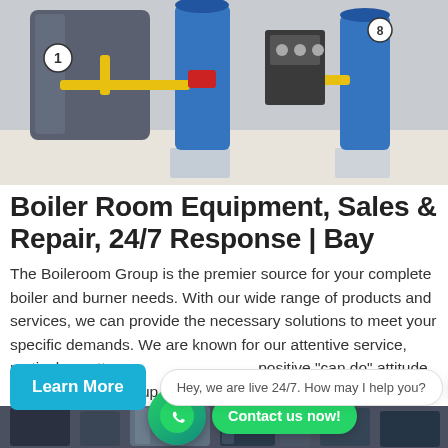[Figure (photo): Industrial boiler room with large blue cylindrical boilers, yellow pipes, and control equipment on a white floor]
Boiler Room Equipment, Sales & Repair, 24/7 Response | Bay
The Boileroom Group is the premier source for your complete boiler and burner needs. With our wide range of products and services, we can provide the necessary solutions to meet your specific demands. We are known for our attentive service, meticulous attention to detail, and a positive "can do" attitude. The Boileroom Group offers a complete line of high-quality boilers, burners, and heating equipme...
[Figure (screenshot): WhatsApp icon (green circle with phone handset) and green 'Contact us now!' button overlay]
[Figure (screenshot): Cyan 'Learn More' button, chat bubble saying 'Hey, we are live 24/7. How may I help you?' and blue chat circle with ellipsis]
[Figure (photo): Bottom strip showing industrial boiler equipment]